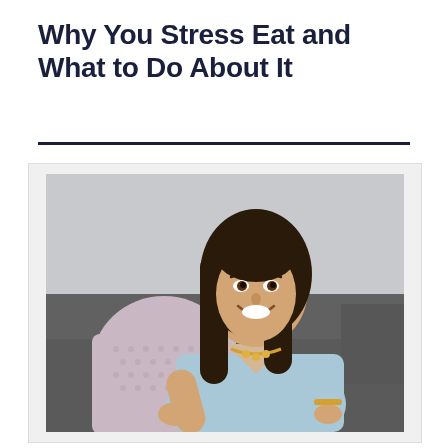Why You Stress Eat and What to Do About It
[Figure (photo): A smiling woman with long dark hair, wearing a light blue sleeveless dress and gold necklace, sitting on a grey sofa with a decorative pillow, posed in a professional headshot style.]